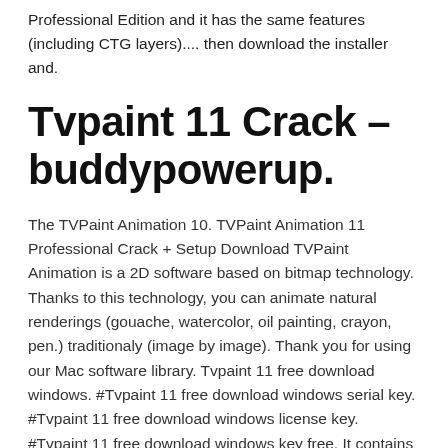Professional Edition and it has the same features (including CTG layers).... then download the installer and.
Tvpaint 11 Crack – buddypowerup.
The TVPaint Animation 10. TVPaint Animation 11 Professional Crack + Setup Download TVPaint Animation is a 2D software based on bitmap technology. Thanks to this technology, you can animate natural renderings (gouache, watercolor, oil painting, crayon, pen.) traditionaly (image by image). Thank you for using our Mac software library. Tvpaint 11 free download windows. #Tvpaint 11 free download windows serial key. #Tvpaint 11 free download windows license key. #Tvpaint 11 free download windows key free. It contains many great